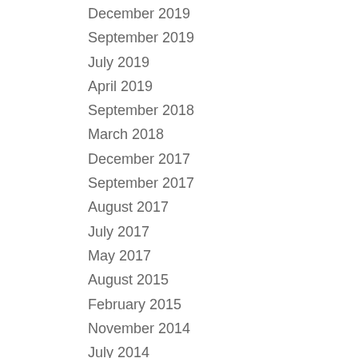December 2019
September 2019
July 2019
April 2019
September 2018
March 2018
December 2017
September 2017
August 2017
July 2017
May 2017
August 2015
February 2015
November 2014
July 2014